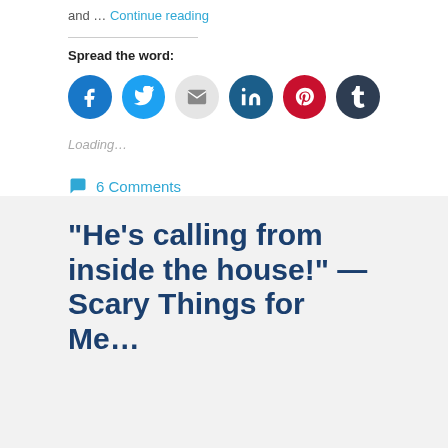and … Continue reading
Spread the word:
[Figure (other): Social sharing icons: Facebook, Twitter, Email, LinkedIn, Pinterest, Tumblr]
Loading…
6 Comments
“He’s calling from inside the house!” — Scary Things for Me…